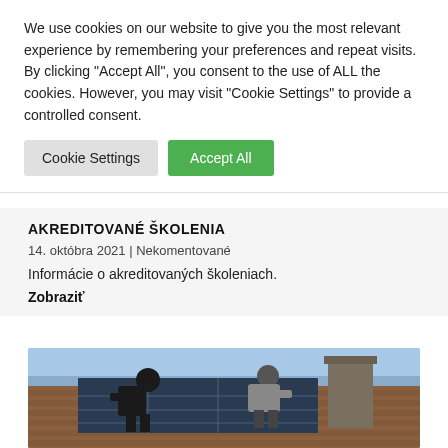We use cookies on our website to give you the most relevant experience by remembering your preferences and repeat visits. By clicking "Accept All", you consent to the use of ALL the cookies. However, you may visit "Cookie Settings" to provide a controlled consent.
Cookie Settings | Accept All
AKREDITOVANÉ ŠKOLENIA
14. októbra 2021 | Nekomentované
Informácie o akreditovaných školeniach.
Zobraziť
[Figure (photo): Two workers installing solar panels on a tiled roof, viewed from behind, with a chimney visible in the background and blue sky above.]